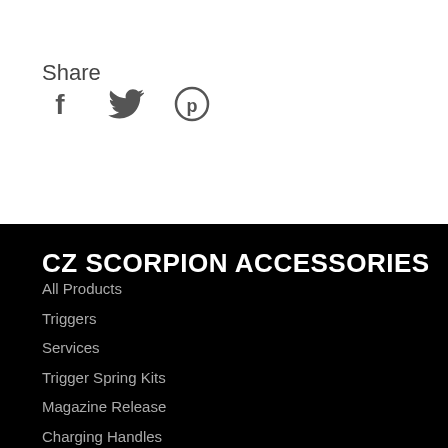Share
[Figure (illustration): Social media share icons: Facebook (f), Twitter (bird), Pinterest (p)]
CZ SCORPION ACCESSORIES
All Products
Triggers
Services
Trigger Spring Kits
Magazine Release
Charging Handles